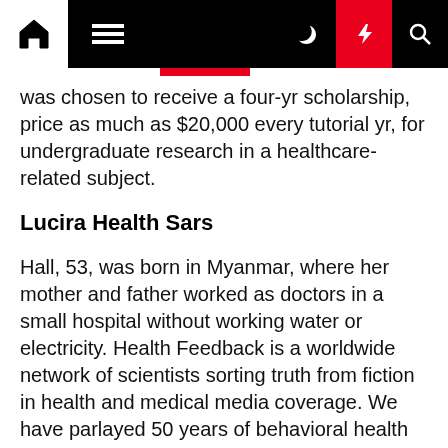Navigation bar with home, menu, moon, bolt, and search icons
was chosen to receive a four-yr scholarship, price as much as $20,000 every tutorial yr, for undergraduate research in a healthcare-related subject.
Lucira Health Sars
Hall, 53, was born in Myanmar, where her mother and father worked as doctors in a small hospital without working water or electricity. Health Feedback is a worldwide network of scientists sorting truth from fiction in health and medical media coverage. We have parlayed 50 years of behavioral health expertise into integrated care fashions for bodily and mental health treatment, from employee assistance applications to complex condition management. With purchasers across health plans, employers, state and local governments, and Federal agencies, we offer evidence, primarily based solutions with an